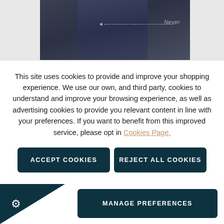[Figure (photo): Partial view of a person wearing a dark navy suit jacket, with a dashed annotation line and 'Never' label overlaid on the image]
This site uses cookies to provide and improve your shopping experience. We use our own, and third party, cookies to understand and improve your browsing experience, as well as advertising cookies to provide you relevant content in line with your preferences. If you want to benefit from this improved service, please opt in Cookies Page.
ACCEPT COOKIES
REJECT ALL COOKIES
MANAGE PREFERENCES